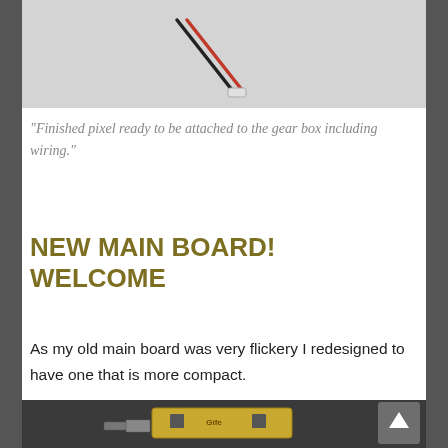[Figure (photo): Photo of a finished pixel component with wiring against a light grey background, showing a small connector with black and red wires.]
"Finished pixel ready to be attached to the gear box including wiring."
NEW MAIN BOARD! WELCOME
As my old main board was very flickery I redesigned to have one that is more compact.
[Figure (photo): Photo of a new main board (PCB) with gold coloring sitting on a dark fabric background, showing electronic components.]